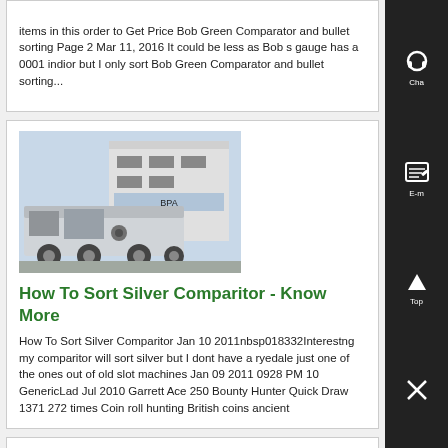items in this order to Get Price Bob Green Comparator and bullet sorting Page 2 Mar 11, 2016 It could be less as Bob s gauge has a 0001 indior but I only sort Bob Green Comparator and bullet sorting...
[Figure (photo): Industrial machinery or concrete pump truck parked near a building]
How To Sort Silver Comparitor - Know More
How To Sort Silver Comparitor Jan 10 2011nbsp018332Interestng my comparitor will sort silver but I dont have a ryedale just one of the ones out of old slot machines Jan 09 2011 0928 PM 10 GenericLad Jul 2010 Garrett Ace 250 Bounty Hunter Quick Draw 1371 272 times Coin roll hunting British coins ancient
[Figure (photo): Metal panel or industrial component with holes and mounting points]